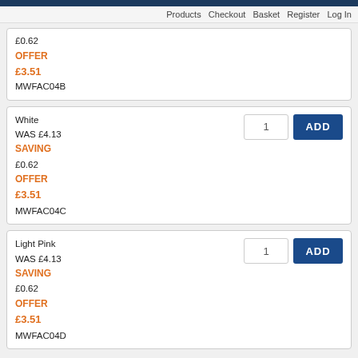Products  Checkout  Basket  Register  Log In
£0.62
OFFER
£3.51
MWFAC04B
White
WAS £4.13
SAVING
£0.62
OFFER
£3.51
MWFAC04C
Light Pink
WAS £4.13
SAVING
£0.62
OFFER
£3.51
MWFAC04D